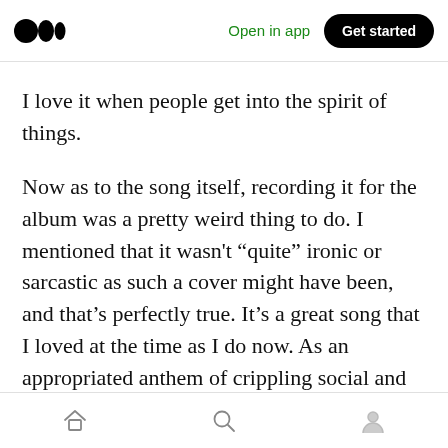Medium logo | Open in app | Get started
I love it when people get into the spirit of things.
Now as to the song itself, recording it for the album was a pretty weird thing to do. I mentioned that it wasn’t “quite” ironic or sarcastic as such a cover might have been, and that’s perfectly true. It’s a great song that I loved at the time as I do now. As an appropriated anthem of crippling social and emotional reserve with an explosive, unarticulated subtext I could relate to it very strongly and it was deliberately selected to fit the pointedly unarticulated theme
Home | Search | Profile